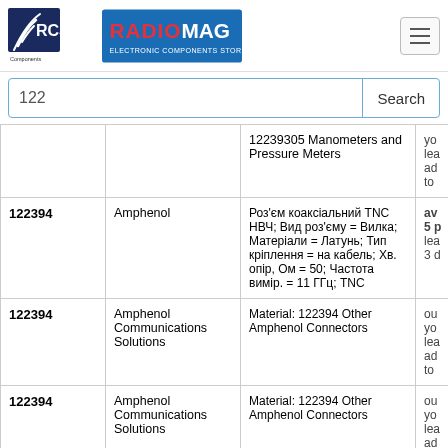RCS Components | RADIOMAG Electronic Components Store
122
| ID | Brand | Description | Action |
| --- | --- | --- | --- |
|  |  | 12239305 Manometers and Pressure Meters | yo
lea
ad
to |
| 122394 | Amphenol | Роз'єм коаксіальний TNC НВЧ; Вид роз'єму = Вилка; Матеріали = Латунь; Тип кріплення = на кабель; Хв. опір, Ом = 50; Частота вимір. = 11 ГГц; TNC | av
5 p
lea
3 d |
| 122394 | Amphenol Communications Solutions | Material: 122394 Other Amphenol Connectors | ou
yo
lea
ad
to |
| 122394 | Amphenol Communications Solutions | Material: 122394 Other Amphenol Connectors | ou
yo
lea
ad
to |